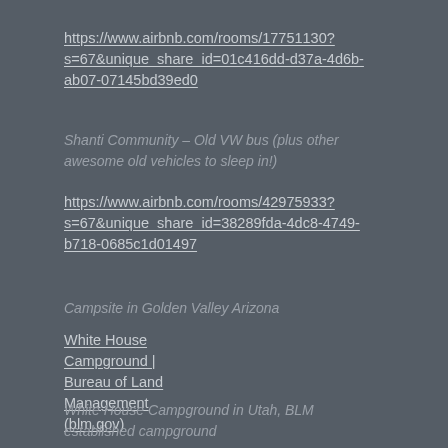https://www.airbnb.com/rooms/17751130?s=67&unique_share_id=01c416dd-d37a-4d6b-ab07-07145bd39ed0
Shanti Community – Old VW bus (plus other awesome old vehicles to sleep in!)
https://www.airbnb.com/rooms/42975933?s=67&unique_share_id=38289fda-4dc8-4749-b718-0685c1d01497
Campsite in Golden Valley Arizona
White House Campground | Bureau of Land Management (blm.gov)
White House Campground in Utah, BLM established campground